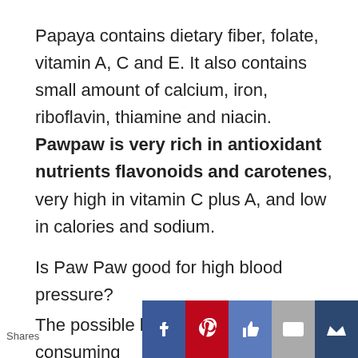Papaya contains dietary fiber, folate, vitamin A, C and E. It also contains small amount of calcium, iron, riboflavin, thiamine and niacin. Pawpaw is very rich in antioxidant nutrients flavonoids and carotenes, very high in vitamin C plus A, and low in calories and sodium.
Is Paw Paw good for high blood pressure?
The possible health benefits of consuming
Shares